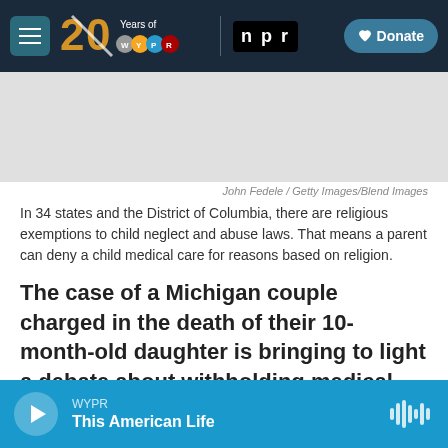WYPR 20 Years of WYPR | npr | Donate
[Figure (photo): Photo placeholder area — image not visible]
John Fedele / Getty Images/Blend Images
In 34 states and the District of Columbia, there are religious exemptions to child neglect and abuse laws. That means a parent can deny a child medical care for reasons based on religion.
The case of a Michigan couple charged in the death of their 10-month-old daughter is bringing to light a debate about withholding medical care because of religious beliefs.
WYPR This American Life